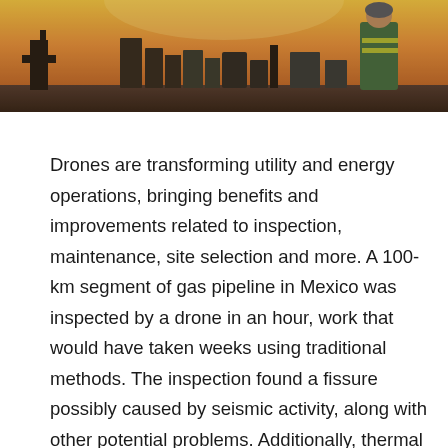[Figure (photo): Industrial oil/gas facility at sunset with storage tanks, pump jacks, and a worker in a high-visibility vest standing in the foreground]
Drones are transforming utility and energy operations, bringing benefits and improvements related to inspection, maintenance, site selection and more. A 100-km segment of gas pipeline in Mexico was inspected by a drone in an hour, work that would have taken weeks using traditional methods. The inspection found a fissure possibly caused by seismic activity, along with other potential problems. Additionally, thermal cameras and gas-leak detection systems can now be mounted to drones to assess areas with suspected gas leaks and used as a contactless measurement tool to keep oil and gas industry professionals out of harm's way.